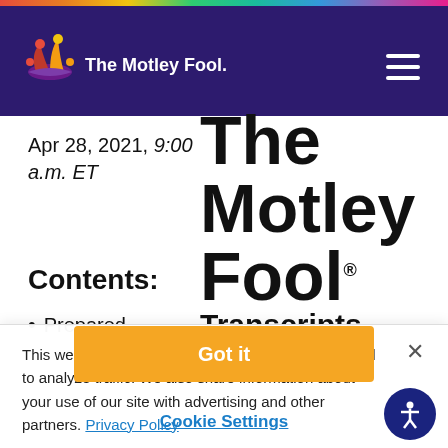[Figure (logo): The Motley Fool logo with jester hat in purple header bar]
Apr 28, 2021, 9:00 a.m. ET
[Figure (logo): The Motley Fool Transcripts large bold wordmark]
Contents:
Prepared
This website uses cookies to deliver our services and to analyze traffic. We also share information about your use of our site with advertising and other partners. Privacy Policy
Got it
Cookie Settings